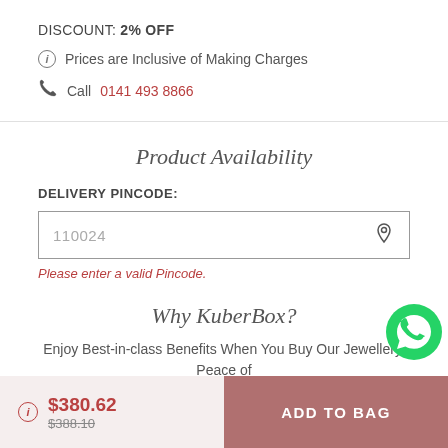DISCOUNT: 2% OFF
Prices are Inclusive of Making Charges
Call 0141 493 8866
Product Availability
DELIVERY PINCODE:
110024
Please enter a valid Pincode.
[Figure (logo): WhatsApp green circular icon with phone handset]
Why KuberBox?
Enjoy Best-in-class Benefits When You Buy Our Jewellery. Peace of
$380.62
$388.10
ADD TO BAG